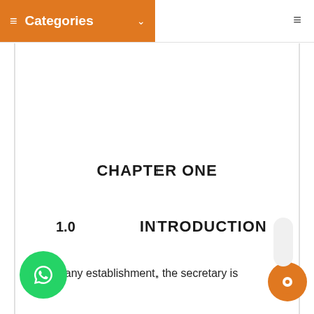Categories
CHAPTER ONE
1.0    INTRODUCTION
In any establishment, the secretary is